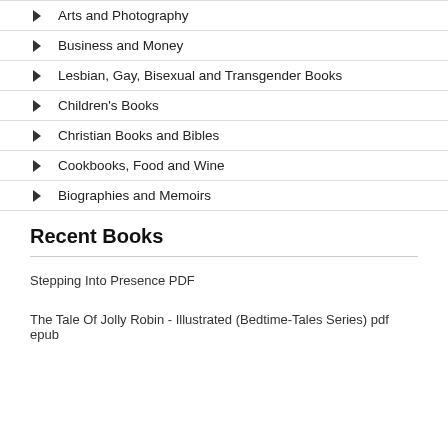Arts and Photography
Business and Money
Lesbian, Gay, Bisexual and Transgender Books
Children's Books
Christian Books and Bibles
Cookbooks, Food and Wine
Biographies and Memoirs
Recent Books
Stepping Into Presence PDF
The Tale Of Jolly Robin - Illustrated (Bedtime-Tales Series) pdf epub